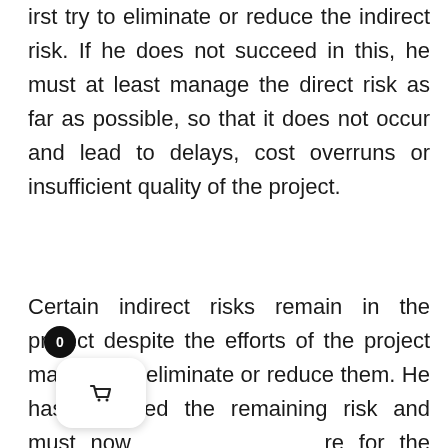irst try to eliminate or reduce the indirect risk. If he does not succeed in this, he must at least manage the direct risk as far as possible, so that it does not occur and lead to delays, cost overruns or insufficient quality of the project.
Certain indirect risks remain in the project despite the efforts of the project manager to eliminate or reduce them. He has accepted the remaining risk and must now prepare for the consequences of a possible realization of this risk. These consequences